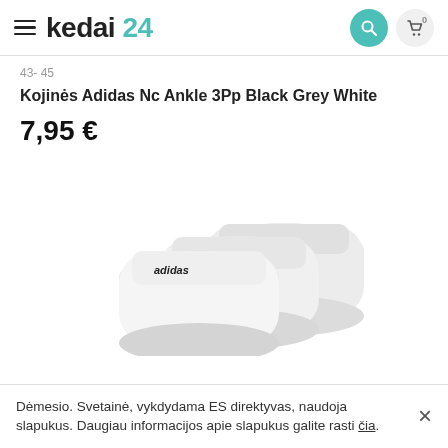kedai 24
43- 45
Kojinės Adidas Nc Ankle 3Pp Black Grey White
7,95 €
[Figure (photo): Three white Adidas ankle socks stacked, each showing the 'adidas' text logo on the cuff, on a white background]
Dėmesio. Svetainė, vykdydama ES direktyvas, naudoja slapukus. Daugiau informacijos apie slapukus galite rasti čia.